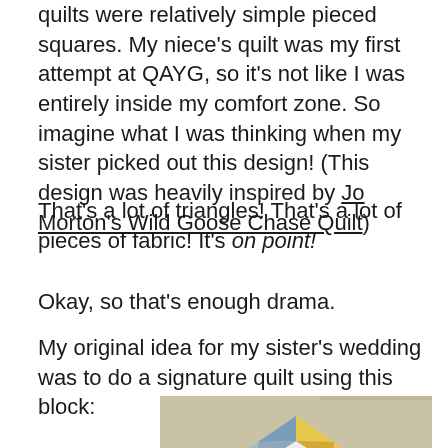quilts were relatively simple pieced squares. My niece's quilt was my first attempt at QAYG, so it's not like I was entirely inside my comfort zone. So imagine what I was thinking when my sister picked out this design! (This design was heavily inspired by Jo Morton's Wild Goose Chase Quilt)
That's a lot of triangles! That's a lot of pieces of fabric! It's on point!
Okay, so that's enough drama.
My original idea for my sister's wedding was to do a signature quilt using this block:
[Figure (photo): A photo of a quilt block made of colorful triangles arranged in a pinwheel/star pattern on a light background, placed on what appears to be a carpeted floor.]